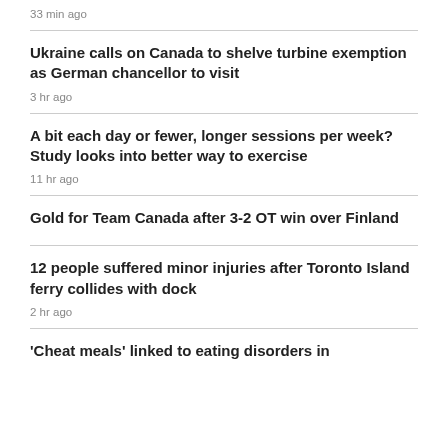33 min ago
Ukraine calls on Canada to shelve turbine exemption as German chancellor to visit
3 hr ago
A bit each day or fewer, longer sessions per week? Study looks into better way to exercise
11 hr ago
Gold for Team Canada after 3-2 OT win over Finland
12 people suffered minor injuries after Toronto Island ferry collides with dock
2 hr ago
'Cheat meals' linked to eating disorders in